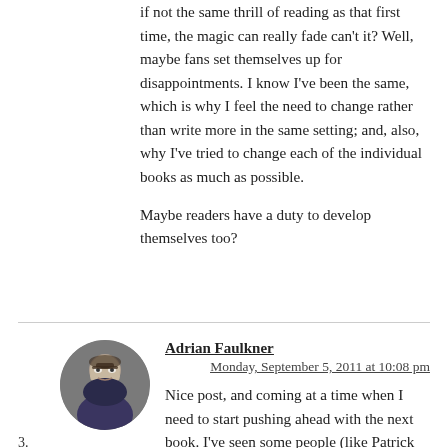if not the same thrill of reading as that first time, the magic can really fade can't it? Well, maybe fans set themselves up for disappointments. I know I've been the same, which is why I feel the need to change rather than write more in the same setting; and, also, why I've tried to change each of the individual books as much as possible.
Maybe readers have a duty to develop themselves too?
[Figure (photo): Circular profile photo of Adrian Faulkner, a man with glasses and dark hair wearing a dark shirt]
Adrian Faulkner
Monday, September 5, 2011 at 10:08 pm
3.
Nice post, and coming at a time when I need to start pushing ahead with the next book. I've seen some people (like Patrick Rothfuss) say they wrote just one book, but wrote it numerous times.
A question though. When you wrote